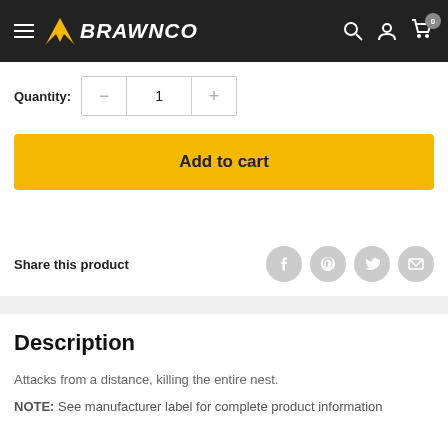BRAWNCO
Quantity: 1
Add to cart
Share this product
Description
Attacks from a distance, killing the entire nest.
NOTE: See manufacturer label for complete product information